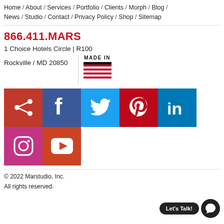Home / About / Services / Portfolio / Clients / Morph / Blog / News / Studio / Contact / Privacy Policy / Shop / Sitemap
866.411.MARS
1 Choice Hotels Circle | R100
Rockville / MD 20850
[Figure (illustration): MADE IN USA flag graphic]
[Figure (infographic): Social media icons grid: share, Facebook, Twitter, Pinterest, LinkedIn, Instagram, YouTube]
© 2022 Marstudio, Inc. All rights reserved.